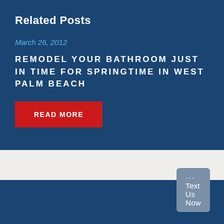Related Posts
March 26, 2012
REMODEL YOUR BATHROOM JUST IN TIME FOR SPRINGTIME IN WEST PALM BEACH
READ MORE
··· Text Us Now